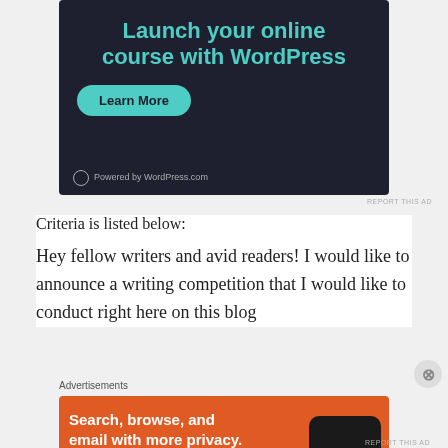[Figure (screenshot): Dark-themed WordPress.com advertisement: 'Launch your online course with WordPress' with teal text, a teal 'Learn More' rounded button, and 'Powered by WordPress.com' footer text with WordPress logo.]
REPORT THIS AD
Criteria is listed below:
Hey fellow writers and avid readers! I would like to announce a writing competition that I would like to conduct right here on this blog
Advertisements
[Figure (screenshot): DuckDuckGo advertisement on orange background: 'Search, browse, and email with more privacy. All in One Free App' with a phone showing the DuckDuckGo app.]
REPORT THIS AD